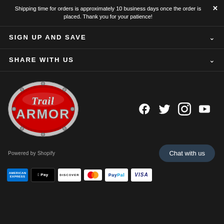Shipping time for orders is approximately 10 business days once the order is placed. Thank you for your patience!
SIGN UP AND SAVE
SHARE WITH US
[Figure (logo): Trail Armor logo: oval metallic chrome border with red background, silver script 'Trail' above bold metallic 'ARMOR' text]
[Figure (infographic): Social media icons: Facebook (f), Twitter (bird), Instagram (camera), YouTube (play button)]
Powered by Shopify
Chat with us
[Figure (infographic): Payment method icons: American Express, Apple Pay, Discover, Mastercard, PayPal, Visa]